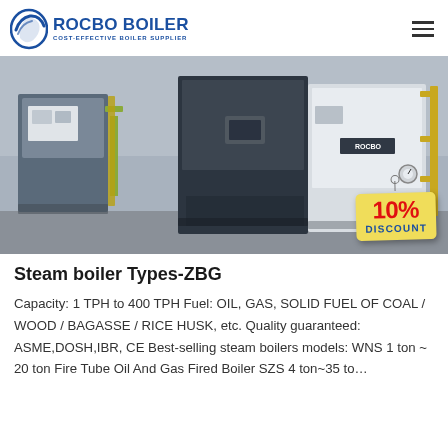ROCBO BOILER — COST-EFFECTIVE BOILER SUPPLIER
[Figure (photo): Industrial steam boilers inside a factory. Multiple large white and dark blue boiler units are visible with yellow piping and control panels. A '10% DISCOUNT' badge is overlaid in the bottom-right corner.]
Steam boiler Types-ZBG
Capacity: 1 TPH to 400 TPH Fuel: OIL, GAS, SOLID FUEL OF COAL / WOOD / BAGASSE / RICE HUSK, etc. Quality guaranteed: ASME,DOSH,IBR, CE Best-selling steam boilers models: WNS 1 ton ~ 20 ton Fire Tube Oil And Gas Fired Boiler SZS 4 ton~35 to…